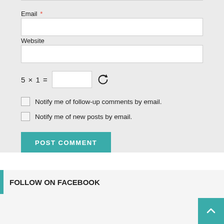Email *
Website
5 × 1 =
Notify me of follow-up comments by email.
Notify me of new posts by email.
POST COMMENT
FOLLOW ON FACEBOOK